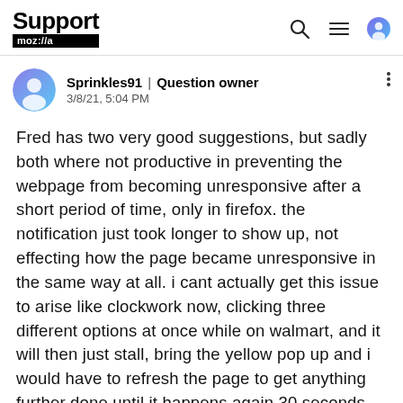Support moz://a
Sprinkles91 | Question owner
3/8/21, 5:04 PM
Fred has two very good suggestions, but sadly both where not productive in preventing the webpage from becoming unresponsive after a short period of time, only in firefox. the notification just took longer to show up, not effecting how the page became unresponsive in the same way at all. i cant actually get this issue to arise like clockwork now, clicking three different options at once while on walmart, and it will then just stall, bring the yellow pop up and i would have to refresh the page to get anything further done until it happens again 30 seconds later while im trying to browse.
as for the second suggestion link in your reply, we again